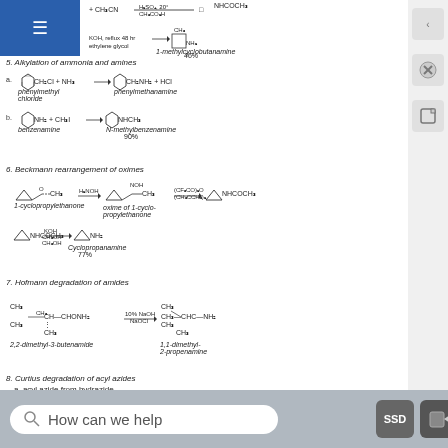[Figure (engineering-diagram): Chemical reaction showing synthesis with H2SO4, 20°C, CH3CO2H conditions and KOH reflux 48hr ethylene glycol yielding 1-methylcyclobutanamine 46%]
5. Alkylation of ammonia and amines
[Figure (engineering-diagram): a. Phenylmethyl chloride + NH3 → phenylmethanamine + HCl; b. benzenamine + CH3I → N-methylbenzenamine 90%]
6. Beckmann rearrangement of oximes
See Section 24-3C.
[Figure (engineering-diagram): 1-cyclopropylethanone + H2NOH → oxime of 1-cyclopropylethanone → (CF3CO)2O/(CH3CCH3)2 → NHCOCH3 → KOH/CH3OH/CH3OH → cyclopropanamine 77%]
7. Hofmann degradation of amides
See Section 23-12E. Either NaOCl or NaOBr may be used.
[Figure (engineering-diagram): 2,2-dimethyl-3-butenamide + 10% NaOH/NaOCl → 1,1-dimethyl-2-propenamine]
8. Curtius degradation of acyl azides
a. acyl azide from hydrazide
Hofmann, Curtius, and Schmidt reactions yield primary amines free
Primary amines are obtained from ammonia, and secondary amines from primary amines. Alkylating agents must have good SN2 reactivity. Limitations are discussed in Section 23-9D.
carbocation in strong acid (see Section 24-3B).